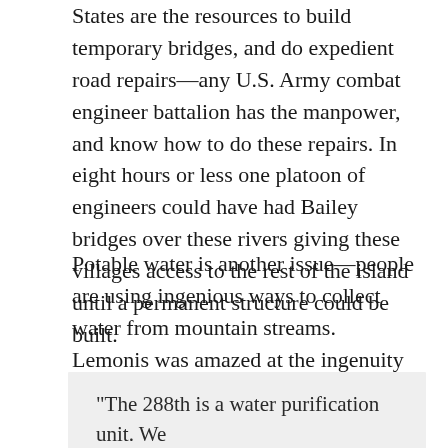States are the resources to build temporary bridges, and do expedient road repairs—any U.S. Army combat engineer battalion has the manpower, and know how to do these repairs. In eight hours or less one platoon of engineers could have had Bailey bridges over these rivers giving these villages access to the rest of the island until a permanent structure could be built.
Potable water is another issue—people are using ingenious ways to collect water from mountain streams. Lemonis was amazed at the ingenuity used to collect this water. He did collect some and had it tested—it was contaminated with E. coli. Again, the U.S. Army has the capability to purify water:
“The 288th is a water purification unit. We